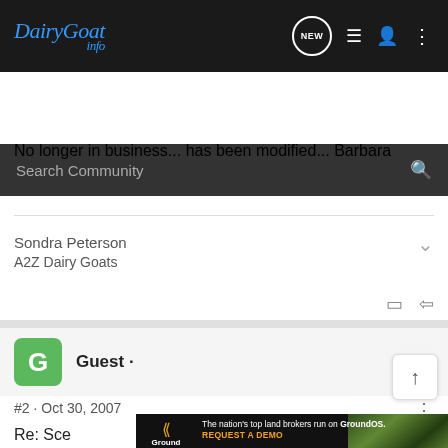DairyGoat Info — navigation bar with logo, NEW button, list icon, user icon, more icon
Search Community
No longer in business... has been modified... Barbara
Sondra Peterson
A2Z Dairy Goats
Guest ·
#2 · Oct 30, 2007
Re: Sce
[Figure (screenshot): GroundOS advertisement banner: 'The nation's top land brokers run on GroundOS. REQUEST A DEMO']